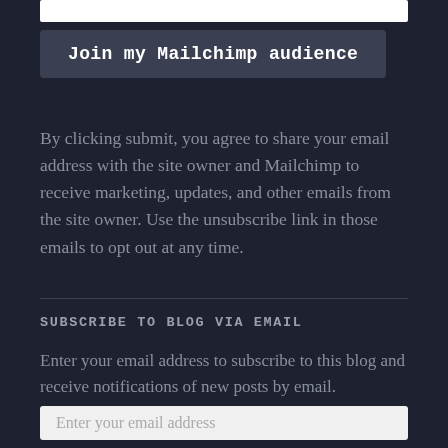Join my Mailchimp audience
By clicking submit, you agree to share your email address with the site owner and Mailchimp to receive marketing, updates, and other emails from the site owner. Use the unsubscribe link in those emails to opt out at any time.
SUBSCRIBE TO BLOG VIA EMAIL
Enter your email address to subscribe to this blog and receive notifications of new posts by email.
Enter your email address